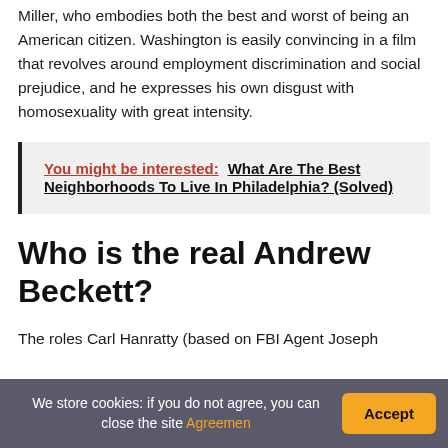Throughout the film, Denzel Washington portrays Joe Miller, who embodies both the best and worst of being an American citizen. Washington is easily convincing in a film that revolves around employment discrimination and social prejudice, and he expresses his own disgust with homosexuality with great intensity.
You might be interested:  What Are The Best Neighborhoods To Live In Philadelphia? (Solved)
Who is the real Andrew Beckett?
The roles Carl Hanratty (based on FBI Agent Joseph
We store cookies: if you do not agree, you can close the site Agreemen